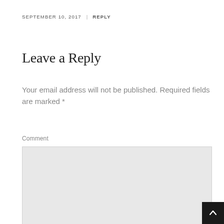SEPTEMBER 10, 2017 | REPLY
Leave a Reply
Your email address will not be published. Required fields are marked *
Comment
[Figure (other): Empty comment textarea input box with light gray background]